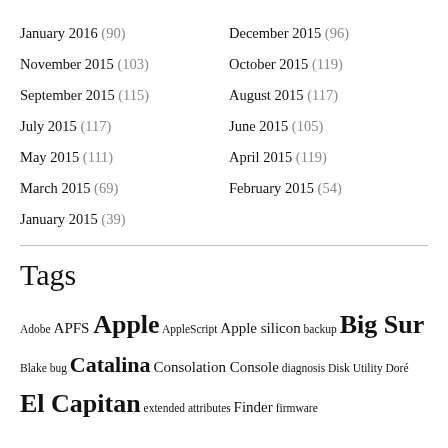January 2016 (90)
December 2015 (96)
November 2015 (103)
October 2015 (119)
September 2015 (115)
August 2015 (117)
July 2015 (117)
June 2015 (105)
May 2015 (111)
April 2015 (119)
March 2015 (69)
February 2015 (54)
January 2015 (39)
Tags
Adobe APFS Apple AppleScript Apple silicon backup Big Sur Blake bug Catalina Consolation Console diagnosis Disk Utility Doré El Capitan extended attributes Finder firmware